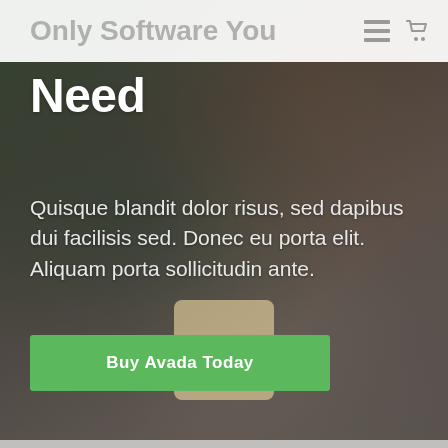Only Software You Need
Only Software You Need
Quisque blandit dolor risus, sed dapibus dui facilisis sed. Donec eu porta elit. Aliquam porta sollicitudin ante.
Buy Avada Today
[Figure (photo): Background photo of a person holding a pink card/book, with dark overlay. Lower portion shows a scrabble tile with 'JS' text on a beige background.]